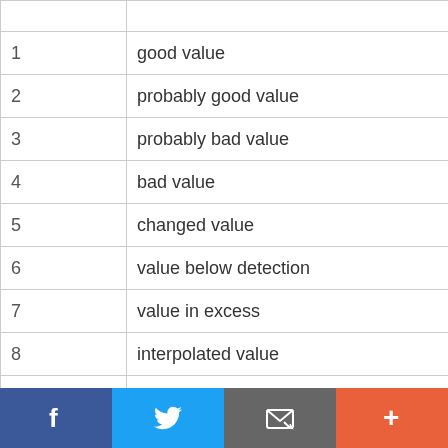|  |  |
| --- | --- |
| 1 | good value |
| 2 | probably good value |
| 3 | probably bad value |
| 4 | bad value |
| 5 | changed value |
| 6 | value below detection |
| 7 | value in excess |
| 8 | interpolated value |
| 9 | missing value |